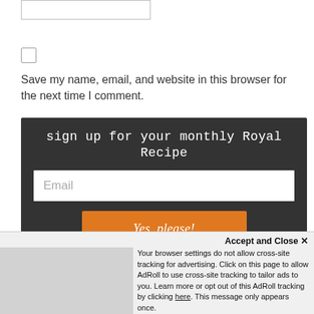[Figure (other): Text input box (form field), partially visible at top]
[Figure (other): Checkbox (unchecked form input)]
Save my name, email, and website in this browser for the next time I comment.
[Figure (other): Dark signup section with title 'sign up for your monthly Royal Recipe', an Email input field, and a 'Yes, please!' orange submit button]
Accept and Close ×
Your browser settings do not allow cross-site tracking for advertising. Click on this page to allow AdRoll to use cross-site tracking to tailor ads to you. Learn more or opt out of this AdRoll tracking by clicking here. This message only appears once.